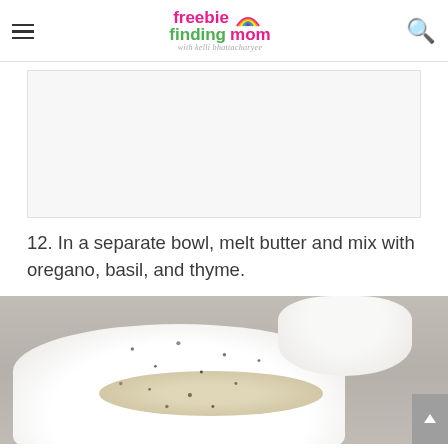freebie finding mom with kelli bhattacharyee
[Figure (other): White rectangular ad placeholder area with light gray background]
12. In a separate bowl, melt butter and mix with oregano, basil, and thyme.
[Figure (photo): A white ceramic baking dish on a wooden surface containing what appears to be chicken or food with herbs (oregano, basil, thyme) sprinkled on top]